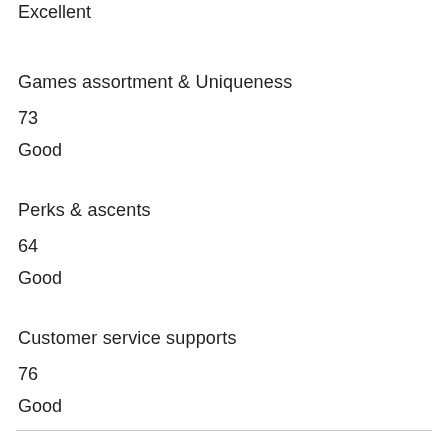Excellent
Games assortment & Uniqueness
73
Good
Perks & ascents
64
Good
Customer service supports
76
Good
>>Play at Platinum Play Casino Online